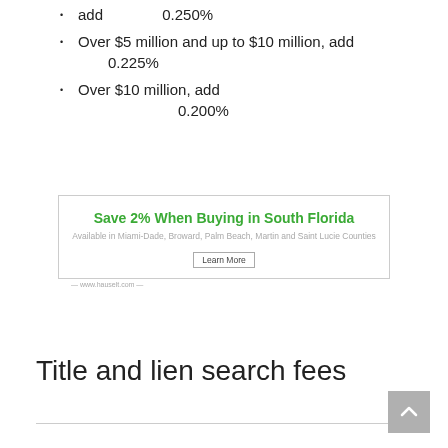add 0.250%
Over $5 million and up to $10 million, add 0.225%
Over $10 million, add 0.200%
[Figure (other): Advertisement banner: Save 2% When Buying in South Florida. Available in Miami-Dade, Broward, Palm Beach, Martin and Saint Lucie Counties. Learn More button. www.hauselt.com]
Title and lien search fees